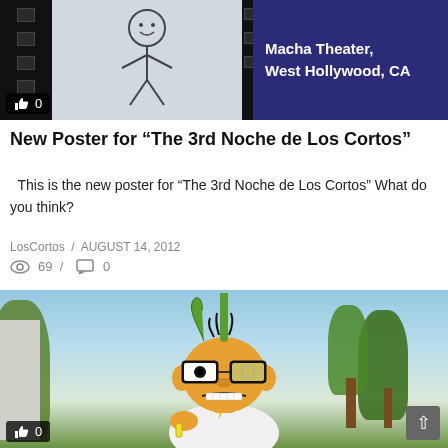[Figure (screenshot): Video thumbnail showing a film strip with a sketch figure on dark background, and a dark blue box with text 'Macha Theater, West Hollywood, CA' on the right. A like badge showing thumbs up and 0 is at the bottom left.]
New Poster for "The 3rd Noche de Los Cortos"
This is the new poster for "The 3rd Noche de Los Cortos" What do you think?
LosCortos / AUGUST 14, 2012
69 / 0
[Figure (photo): 3D animated clay-style character with black glasses, orange skin, messy hair, grimacing expression, wearing white shirt with lightning bolt, outdoors with trees and houses in background.]